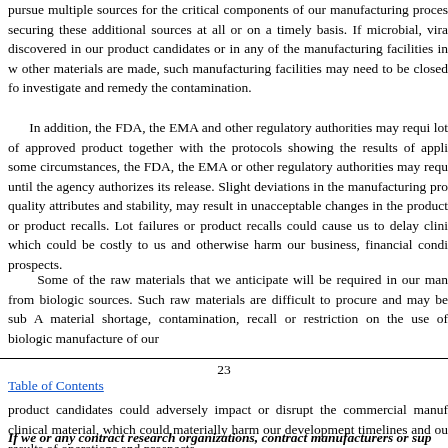pursue multiple sources for the critical components of our manufacturing process securing these additional sources at all or on a timely basis. If microbial, viral contamination is discovered in our product candidates or in any of the manufacturing facilities in which our products or other materials are made, such manufacturing facilities may need to be closed for an extended period to investigate and remedy the contamination.
In addition, the FDA, the EMA and other regulatory authorities may require us to submit samples of any lot of approved product together with the protocols showing the results of applicable tests at any time. In some circumstances, the FDA, the EMA or other regulatory authorities may require that we not distribute a lot until the agency authorizes its release. Slight deviations in the manufacturing process, including those affecting quality attributes and stability, may result in unacceptable changes in the product that could result in lot failures or product recalls. Lot failures or product recalls could cause us to delay clinical trials or commercialization, which could be costly to us and otherwise harm our business, financial condition, results of operations and prospects.
Some of the raw materials that we anticipate will be required in our manufacturing processes are derived from biologic sources. Such raw materials are difficult to procure and may be subject to contamination or recall. A material shortage, contamination, recall or restriction on the use of biologic raw materials could adversely affect the manufacture of our
23
Table of Contents
product candidates could adversely impact or disrupt the commercial manufacture or supply of our clinical material, which could materially harm our development timelines and our business, financial condition, results of operations and prospects.
If we or any contract research organizations, contract manufacturers or sup